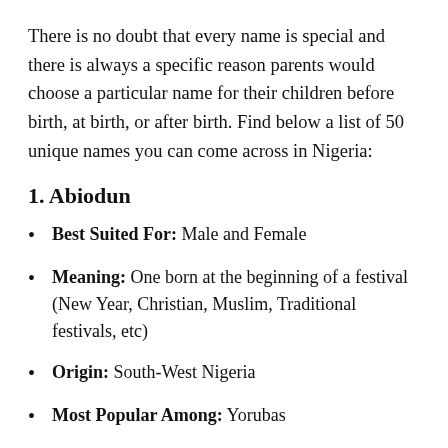There is no doubt that every name is special and there is always a specific reason parents would choose a particular name for their children before birth, at birth, or after birth. Find below a list of 50 unique names you can come across in Nigeria:
1. Abiodun
Best Suited For: Male and Female
Meaning: One born at the beginning of a festival (New Year, Christian, Muslim, Traditional festivals, etc)
Origin: South-West Nigeria
Most Popular Among: Yorubas